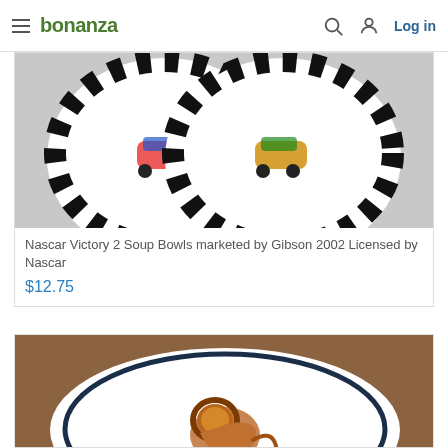bonanza  Log in
[Figure (photo): Two white ceramic soup bowls with black checkered borders and NASCAR-themed car illustrations in the center, photographed on a light gray surface.]
Nascar Victory 2 Soup Bowls marketed by Gibson 2002 Licensed by Nascar
$12.75
[Figure (photo): White ceramic plate with a dark navy blue ring border, featuring a brown lion figure illustration in the center, placed on a wooden brown surface.]